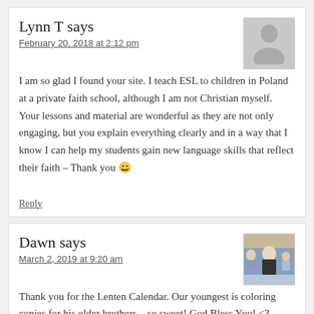Lynn T says
February 20, 2018 at 2:12 pm
[Figure (illustration): Gray silhouette avatar placeholder image]
I am so glad I found your site. I teach ESL to children in Poland at a private faith school, although I am not Christian myself. Your lessons and material are wonderful as they are not only engaging, but you explain everything clearly and in a way that I know I can help my students gain new language skills that reflect their faith – Thank you 😀
Reply
Dawn says
March 2, 2019 at 9:20 am
[Figure (photo): Small photo of a person at an outdoor event]
Thank you for the Lenten Calendar. Our youngest is coloring copies for his older brothers…so sweet! God Bless You! <3
Reply